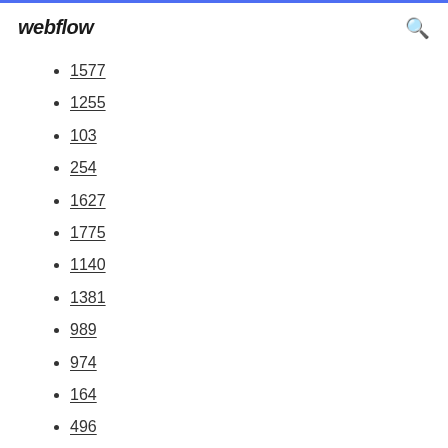webflow
1577
1255
103
254
1627
1775
1140
1381
989
974
164
496